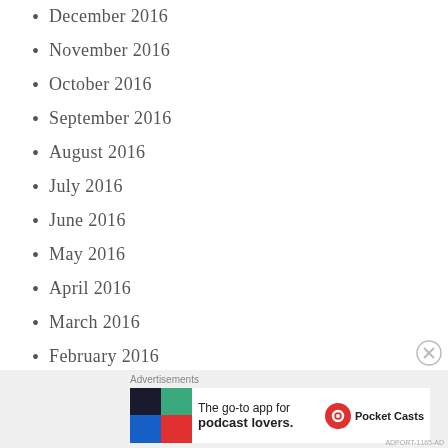December 2016
November 2016
October 2016
September 2016
August 2016
July 2016
June 2016
May 2016
April 2016
March 2016
February 2016
January 2016
December 2015
Advertisements
[Figure (other): Pocket Casts advertisement banner: The go-to app for podcast lovers.]